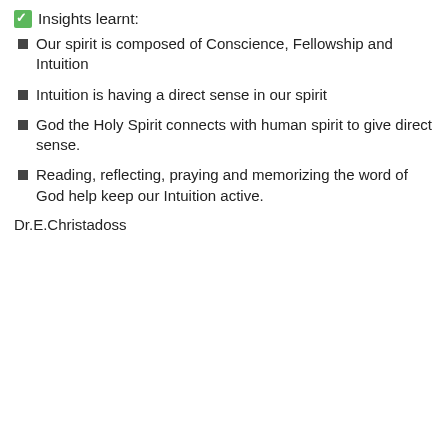✅ Insights learnt:
Our spirit is composed of Conscience, Fellowship and Intuition
Intuition is having a direct sense in our spirit
God the Holy Spirit connects with human spirit to give direct sense.
Reading, reflecting, praying and memorizing the word of God help keep our Intuition active.
Dr.E.Christadoss